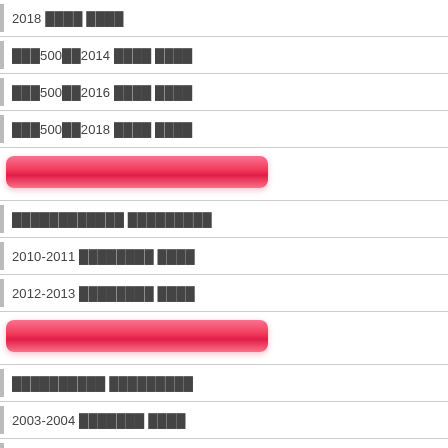2018 ████ ████
███500██2014 ████ ████
███500██2016 ████ ████
███500██2018 ████ ████
[Figure (other): Pink/red rounded button element]
████████████ █████████
2010-2011 ████████ ████
2012-2013 ████████ ████
[Figure (other): Pink/red rounded button element]
██████████ █████████
2003-2004 ███████ ████
2005-2007 ███████ ████
2013-2015 ███████ ████
2016 ███████ ████
2017-2019 ███████ ████